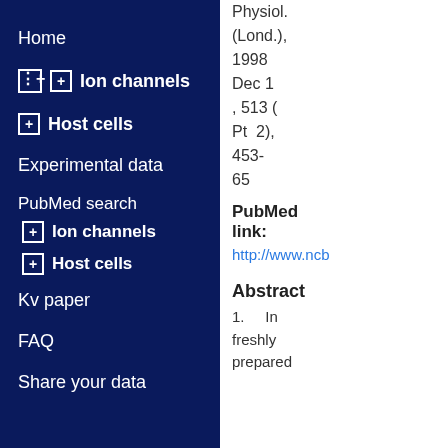Home
Ion channels
Host cells
Experimental data
PubMed search
Ion channels
Host cells
Kv paper
FAQ
Share your data
Physiol. (Lond.), 1998 Dec 1 , 513 (Pt 2), 453-65
PubMed link:
http://www.ncb
Abstract
1.    In freshly prepared